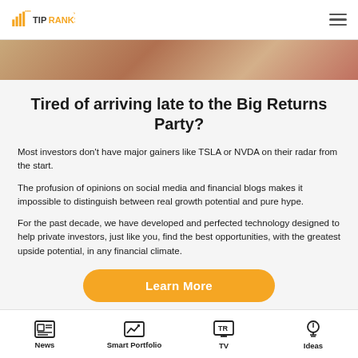TipRanks
[Figure (photo): Hero image strip showing a warm-toned indoor/outdoor scene]
Tired of arriving late to the Big Returns Party?
Most investors don't have major gainers like TSLA or NVDA on their radar from the start.
The profusion of opinions on social media and financial blogs makes it impossible to distinguish between real growth potential and pure hype.
For the past decade, we have developed and perfected technology designed to help private investors, just like you, find the best opportunities, with the greatest upside potential, in any financial climate.
Learn More
News | Smart Portfolio | TV | Ideas